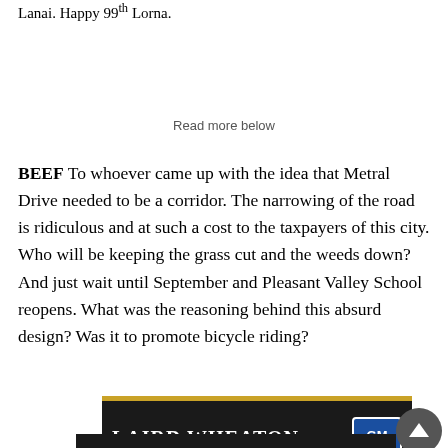Lanai. Happy 99th Lorna.
Read more below
BEEF To whoever came up with the idea that Metral Drive needed to be a corridor. The narrowing of the road is ridiculous and at such a cost to the taxpayers of this city. Who will be keeping the grass cut and the weeds down? And just wait until September and Pleasant Valley School reopens. What was the reasoning behind this absurd design? Was it to promote bicycle riding?
[Figure (other): Laird Wheaton GM Canada advertisement banner - dark background with gold top border, white bold text 'LAIRD WHEATON' and GM Canada blue badge logo]
[Figure (other): Laser toner advertisement - dark background with yellow bold text 'OUR HIGH QUALITY LASER TONERS WILL SAVE YOU 20-60%!']